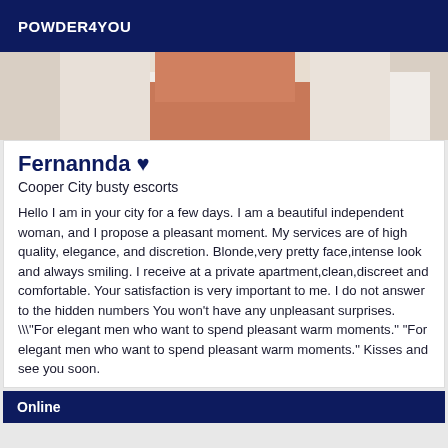POWDER4YOU
[Figure (photo): Cropped photo showing a person holding something, close-up view of torso/hands area]
Fernannda ♥
Cooper City busty escorts
Hello I am in your city for a few days. I am a beautiful independent woman, and I propose a pleasant moment. My services are of high quality, elegance, and discretion. Blonde,very pretty face,intense look and always smiling. I receive at a private apartment,clean,discreet and comfortable. Your satisfaction is very important to me. I do not answer to the hidden numbers You won't have any unpleasant surprises. \"For elegant men who want to spend pleasant warm moments." "For elegant men who want to spend pleasant warm moments." Kisses and see you soon.
Online